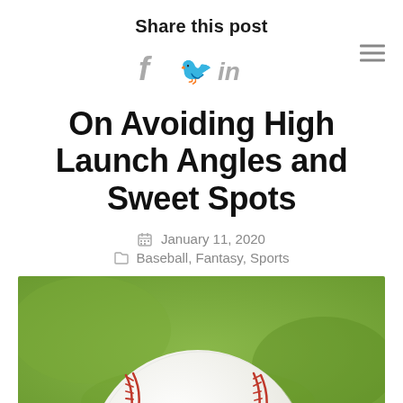Share this post
[Figure (infographic): Social media sharing icons: Facebook (f), Twitter (bird), LinkedIn (in), and a hamburger menu icon on the right]
On Avoiding High Launch Angles and Sweet Spots
January 11, 2020
Baseball, Fantasy, Sports
[Figure (photo): Close-up photo of a white baseball with red stitching against a green blurred background]